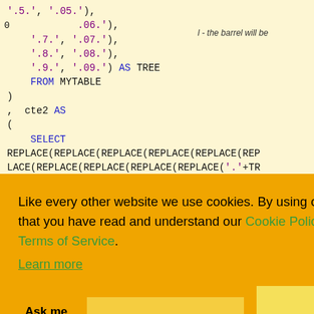SQL code snippet showing CTE with REPLACE functions and string literals
Cookie consent overlay: Like every other website we use cookies. By using our site you acknowledge that you have read and understand our Cookie Policy, Privacy Policy, and our Terms of Service. Learn more. Buttons: Ask me later, Decline, Allow cookies